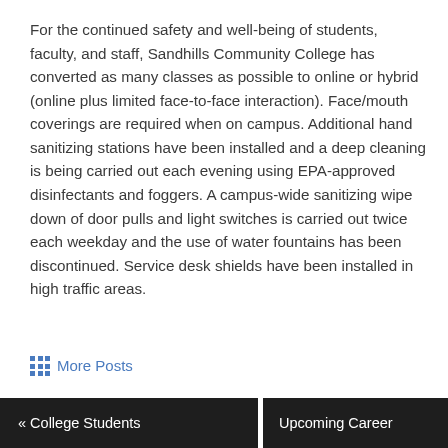For the continued safety and well-being of students, faculty, and staff, Sandhills Community College has converted as many classes as possible to online or hybrid (online plus limited face-to-face interaction). Face/mouth coverings are required when on campus. Additional hand sanitizing stations have been installed and a deep cleaning is being carried out each evening using EPA-approved disinfectants and foggers. A campus-wide sanitizing wipe down of door pulls and light switches is carried out twice each weekday and the use of water fountains has been discontinued. Service desk shields have been installed in high traffic areas.
More Posts
« College Students   Upcoming Career